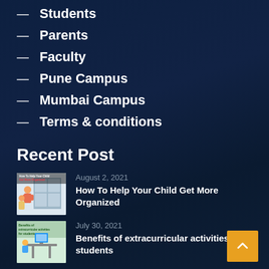— Students
— Parents
— Faculty
— Pune Campus
— Mumbai Campus
— Terms & conditions
Recent Post
[Figure (illustration): Blog thumbnail: How To Help Your Child Get More Organized]
August 2, 2021
How To Help Your Child Get More Organized
[Figure (illustration): Blog thumbnail: Benefits of extracurricular activities for students]
July 30, 2021
Benefits of extracurricular activities for students